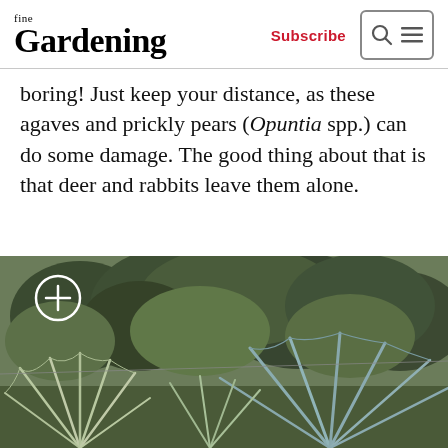fine Gardening | Subscribe
boring! Just keep your distance, as these agaves and prickly pears (Opuntia spp.) can do some damage. The good thing about that is that deer and rabbits leave them alone.
[Figure (photo): Outdoor garden photo showing palm-like plants with fan-shaped fronds in the foreground and dense green forest/trees in the background. A white circle with a plus sign is visible in the upper left of the image.]